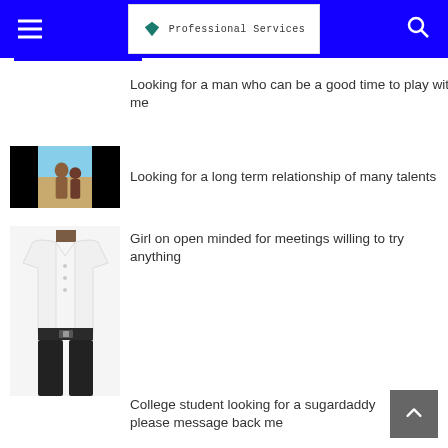Professional Services
Looking for a man who can be a good time to play with me
Looking for a long term relationship of many talents
[Figure (photo): Small photo thumbnail showing two people at a beach, with black bars on each side]
Girl on open minded for meetings willing to try anything
[Figure (photo): Photo of a person wearing a white long-sleeve shirt and dark pants with a belt, head not visible]
College student looking for a sugardaddy please message back me